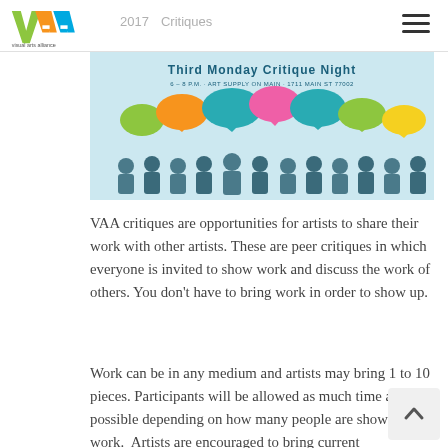VAA visual arts alliance — 2017 Critiques
[Figure (illustration): Third Monday Critique Night banner with colorful speech bubbles and silhouettes of people talking. Text reads: 'Third Monday Critique Night 6-8 P.M. · Art Supply on Main · 1711 Main St 77002']
VAA critiques are opportunities for artists to share their work with other artists. These are peer critiques in which everyone is invited to show work and discuss the work of others. You don't have to bring work in order to show up.
Work can be in any medium and artists may bring 1 to 10 pieces. Participants will be allowed as much time as possible depending on how many people are showing work. Artists are encouraged to bring current pieces/projects they wish to